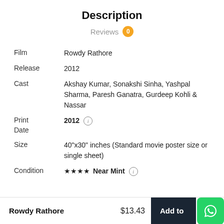Description
Reviews 0
| Field | Value |
| --- | --- |
| Film | Rowdy Rathore |
| Release | 2012 |
| Cast | Akshay Kumar, Sonakshi Sinha, Yashpal Sharma, Paresh Ganatra, Gurdeep Kohli & Nassar |
| Print Date | 2012 ⓘ |
| Size | 40"x30" inches (Standard movie poster size or single sheet) |
| Condition | ★★★★ Near Mint ⓘ |
Rowdy Rathore  $13.43  Add to